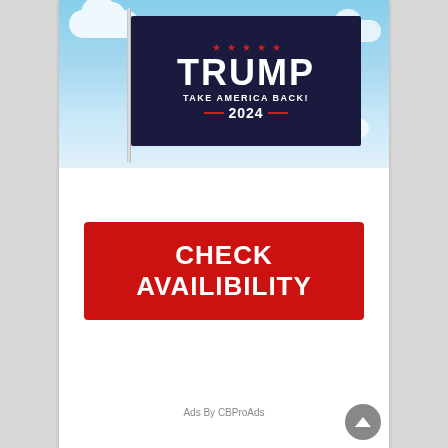[Figure (photo): A dark navy blue flag with 'TRUMP TAKE AMERICA BACK! 2024' text and red stars, waving on a silver pole against a blue sky with white clouds.]
CHECK AVAILIBILITY
Ads By CBProAds